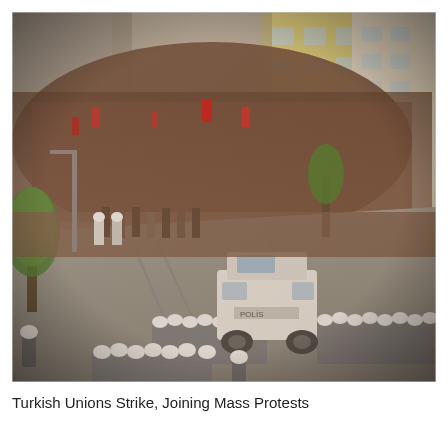[Figure (photo): Aerial view of a large crowd of protesters filling a street in Turkey, with a row of riot police in white helmets and a white police water cannon vehicle blocking their path. Buildings line the right side of the street, and trees are visible on the left.]
Turkish Unions Strike, Joining Mass Protests